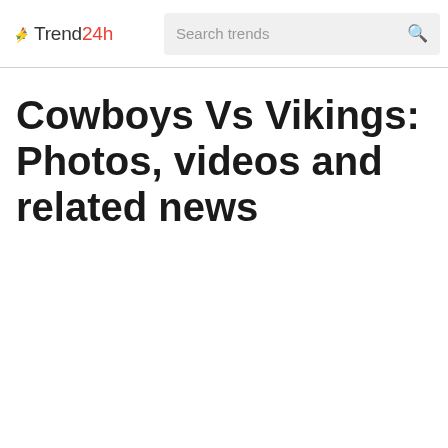Trend24h | Search trends
Cowboys Vs Vikings: Photos, videos and related news